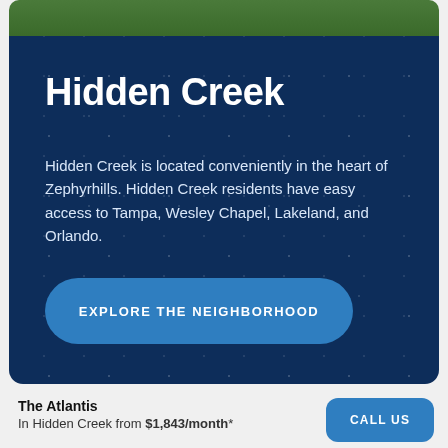[Figure (photo): Green grass/lawn area visible at top of card]
Hidden Creek
Hidden Creek is located conveniently in the heart of Zephyrhills. Hidden Creek residents have easy access to Tampa, Wesley Chapel, Lakeland, and Orlando.
EXPLORE THE NEIGHBORHOOD
The Atlantis
In Hidden Creek from $1,843/month*
CALL US